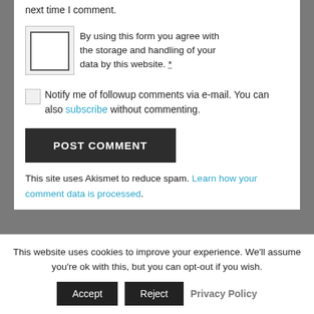Save my name, email, and website in this browser for the next time I comment.
By using this form you agree with the storage and handling of your data by this website. *
Notify me of followup comments via e-mail. You can also subscribe without commenting.
POST COMMENT
This site uses Akismet to reduce spam. Learn how your comment data is processed.
AUTHOR SPOTLIGHT
This website uses cookies to improve your experience. We'll assume you're ok with this, but you can opt-out if you wish.
Accept  Reject  Privacy Policy